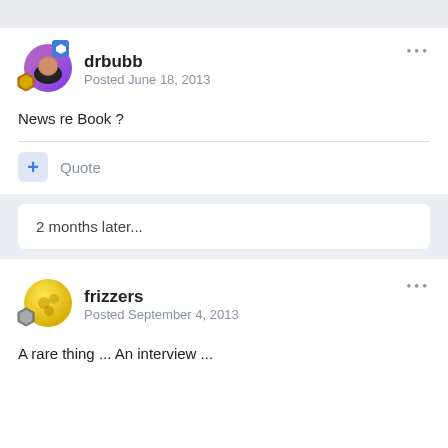drbubb
Posted June 18, 2013
News re Book ?
+ Quote
2 months later...
frizzers
Posted September 4, 2013
A rare thing ... An interview ...